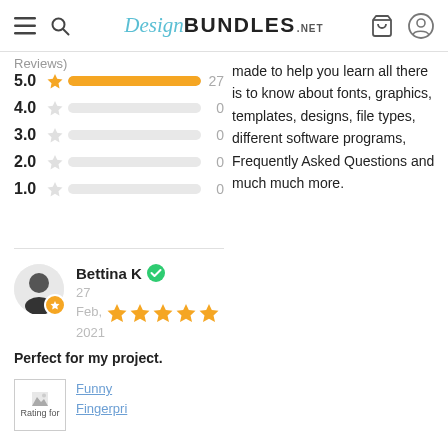Design BUNDLES .NET
Reviews)
[Figure (infographic): Star rating breakdown: 5.0 star = 27 reviews (full orange bar), 4.0 = 0, 3.0 = 0, 2.0 = 0, 1.0 = 0]
made to help you learn all there is to know about fonts, graphics, templates, designs, file types, different software programs, Frequently Asked Questions and much much more.
Bettina K ✓
27 Feb, 2021
★★★★★
Perfect for my project.
Rating for [product]
Funny Fingerpri...